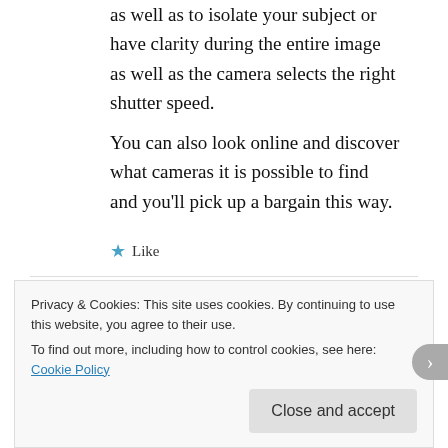as well as to isolate your subject or have clarity during the entire image as well as the camera selects the right shutter speed.
You can also look online and discover what cameras it is possible to find and you’ll pick up a bargain this way.
★ Like
Gail Bradwell
AUGUST 7, 2017 AT 4:50 PM
Privacy & Cookies: This site uses cookies. By continuing to use this website, you agree to their use.
To find out more, including how to control cookies, see here: Cookie Policy
Close and accept